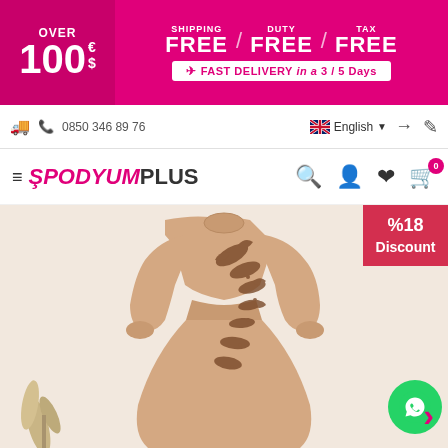[Figure (screenshot): E-commerce website banner with pink background showing 'OVER 100 € $ SHIPPING FREE / DUTY FREE / TAX FREE' and 'FAST DELIVERY in a 3/5 Days']
0850 346 89 76  English
SPODYUMPLUS
[Figure (photo): A beige/caramel long-sleeve modest evening dress with floral embroidery and beading detail on the bodice and skirt, worn by a model. A %18 Discount badge is shown in the top right corner.]